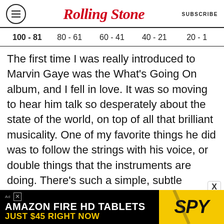Rolling Stone | SUBSCRIBE
100 - 81  80 - 61  60 - 41  40 - 21  20 - 1
The first time I was really introduced to Marvin Gaye was the What's Going On album, and I fell in love. It was so moving to hear him talk so desperately about the state of the world, on top of all that brilliant musicality. One of my favorite things he did was to follow the strings with his voice, or double things that the instruments are doing. There's such a simple, subtle lushness to it that adds this whole other layer to the music.
These days we have Pro Tools and a thousand
[Figure (other): Amazon Fire HD Tablets advertisement banner: 'AMAZON FIRE HD TABLETS JUST $45 RIGHT NOW' with SPY logo on yellow background]